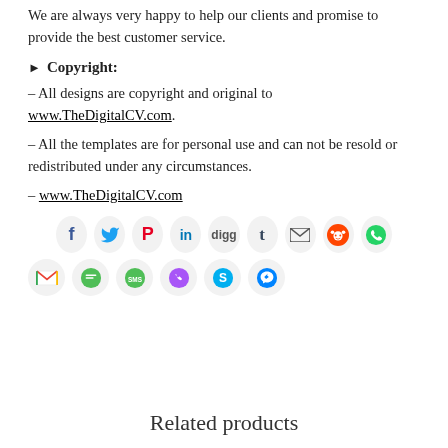We are always very happy to help our clients and promise to provide the best customer service.
► Copyright:
– All designs are copyright and original to www.TheDigitalCV.com.
– All the templates are for personal use and can not be resold or redistributed under any circumstances.
– www.TheDigitalCV.com
[Figure (infographic): Social media share icons in two rows: Facebook, Twitter, Pinterest, LinkedIn, Digg, Tumblr, Email, Reddit, WhatsApp (top row); Gmail, Chat, SMS, Phone, Skype, Messenger (bottom row). All icons are circular with light gray backgrounds.]
Related products